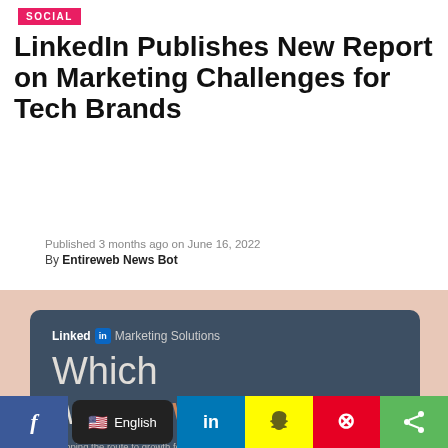SOCIAL
LinkedIn Publishes New Report on Marketing Challenges for Tech Brands
Published 3 months ago on June 16, 2022
By Entireweb News Bot
[Figure (illustration): LinkedIn Marketing Solutions report cover on a salmon/peach background. Dark slate-blue card with LinkedIn logo, text reading 'Which way now?' (now in copper/orange color), subtitle: 'Mapping the route to growth for Tech Challenger companies']
[Figure (infographic): Social sharing bar at the bottom with icons: Facebook (blue), English language selector (dark), LinkedIn (blue), Snapchat (yellow), Pinterest (red), Share (green)]